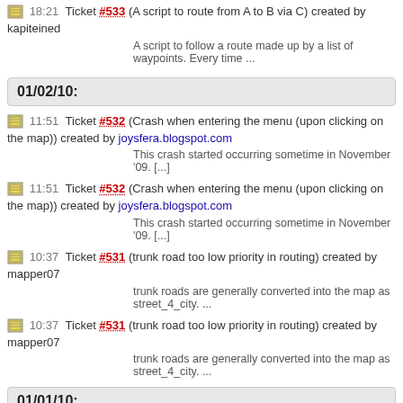18:21 Ticket #533 (A script to route from A to B via C) created by kapiteined
A script to follow a route made up by a list of waypoints. Every time ...
01/02/10:
11:51 Ticket #532 (Crash when entering the menu (upon clicking on the map)) created by joysfera.blogspot.com
This crash started occurring sometime in November '09. [...]
11:51 Ticket #532 (Crash when entering the menu (upon clicking on the map)) created by joysfera.blogspot.com
This crash started occurring sometime in November '09. [...]
10:37 Ticket #531 (trunk road too low priority in routing) created by mapper07
trunk roads are generally converted into the map as street_4_city. ...
10:37 Ticket #531 (trunk road too low priority in routing) created by mapper07
trunk roads are generally converted into the map as street_4_city. ...
01/01/10:
02:08 Ticket #527 (gui.fullscreen() stopped functioning) closed by flabrosse